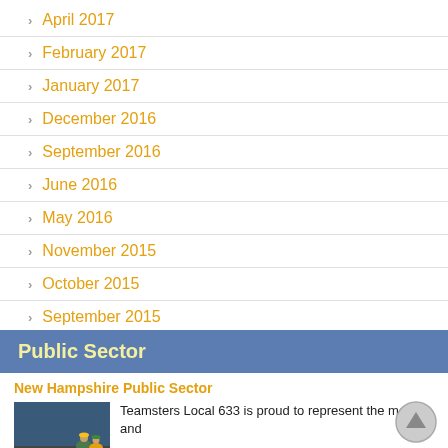April 2017
February 2017
January 2017
December 2016
September 2016
June 2016
May 2016
November 2015
October 2015
September 2015
October 2014
Public Sector
New Hampshire Public Sector
[Figure (photo): Workers in hard hats and safety vests working on a street/road construction scene with orange traffic cones and road markings]
Teamsters Local 633 is proud to represent the men and